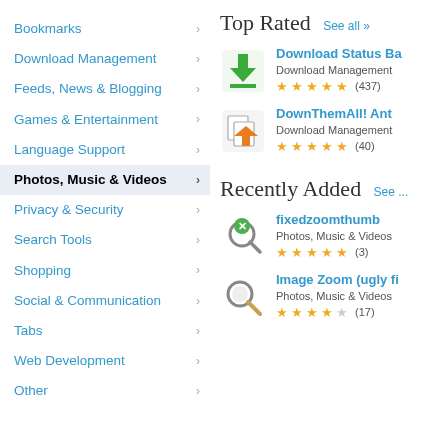Bookmarks
Download Management
Feeds, News & Blogging
Games & Entertainment
Language Support
Photos, Music & Videos
Privacy & Security
Search Tools
Shopping
Social & Communication
Tabs
Web Development
Other
Top Rated
See all »
[Figure (illustration): Green download arrow icon for Download Status Bar addon]
Download Status Ba...
Download Management
★★★★★ (437)
[Figure (illustration): DownThemAll antivirus addon icon with blue arrow]
DownThemAll! Ant...
Download Management
★★★★★ (40)
Recently Added
See ...
[Figure (illustration): Green magnifying glass with X icon for fixedzoomthumb addon]
fixedzoomthumb
Photos, Music & Videos
★★★★★ (3)
[Figure (illustration): Grey magnifying glass icon for Image Zoom addon]
Image Zoom (ugly fi...
Photos, Music & Videos
★★★★☆ (17)